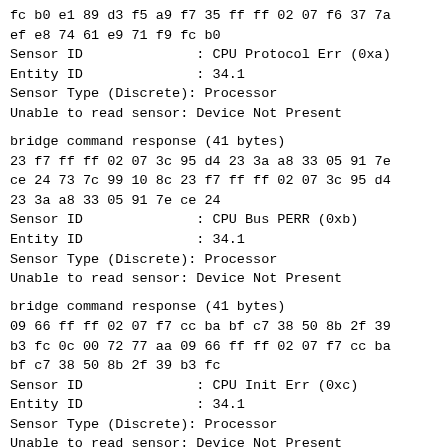fc b0 e1 89 d3 f5 a9 f7 35 ff ff 02 07 f6 37 7a
ef e8 74 61 e9 71 f9 fc b0
Sensor ID              : CPU Protocol Err (0xa)
Entity ID              : 34.1
Sensor Type (Discrete): Processor
Unable to read sensor: Device Not Present
bridge command response (41 bytes)
23 f7 ff ff 02 07 3c 95 d4 23 3a a8 33 05 91 7e
ce 24 73 7c 99 10 8c 23 f7 ff ff 02 07 3c 95 d4
23 3a a8 33 05 91 7e ce 24
Sensor ID              : CPU Bus PERR (0xb)
Entity ID              : 34.1
Sensor Type (Discrete): Processor
Unable to read sensor: Device Not Present
bridge command response (41 bytes)
09 66 ff ff 02 07 f7 cc ba bf c7 38 50 8b 2f 39
b3 fc 0c 00 72 77 aa 09 66 ff ff 02 07 f7 cc ba
bf c7 38 50 8b 2f 39 b3 fc
Sensor ID              : CPU Init Err (0xc)
Entity ID              : 34.1
Sensor Type (Discrete): Processor
Unable to read sensor: Device Not Present
bridge command response (41 bytes)
30 89 ff ff 02 07 61 33 4c 17 c3 f1 2d 92 e1 10